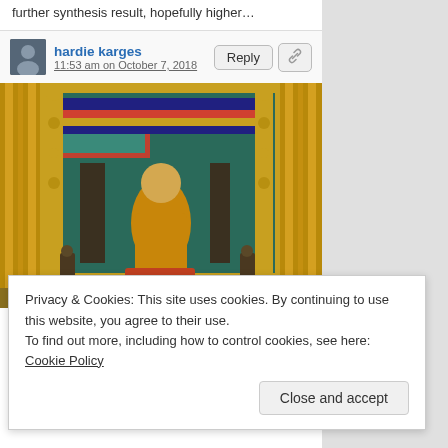further synthesis result, hopefully higher…
hardie karges
11:53 am on October 7, 2018
[Figure (photo): Photo of a Buddhist temple interior with colorful decorations, golden ornaments, curtains, and a Buddha statue]
Privacy & Cookies: This site uses cookies. By continuing to use this website, you agree to their use.
To find out more, including how to control cookies, see here: Cookie Policy
trump presude over, even if not currently resident,